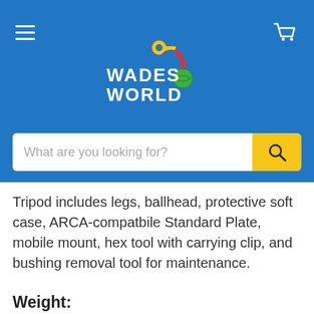[Figure (logo): Wades World logo with key and chameleon mascot on blue background]
Tripod includes legs, ballhead, protective soft case, ARCA-compatbile Standard Plate, mobile mount, hex tool with carrying clip, and bushing removal tool for maintenance.
Weight:
Carbon: 1.27 kg